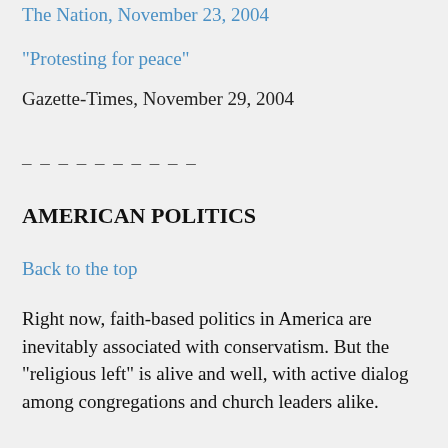“Protesting for peace”
Gazette-Times, November 29, 2004
– – – – – – – – – –
AMERICAN POLITICS
Back to the top
Right now, faith-based politics in America are inevitably associated with conservatism. But the “religious left” is alive and well, with active dialog among congregations and church leaders alike.